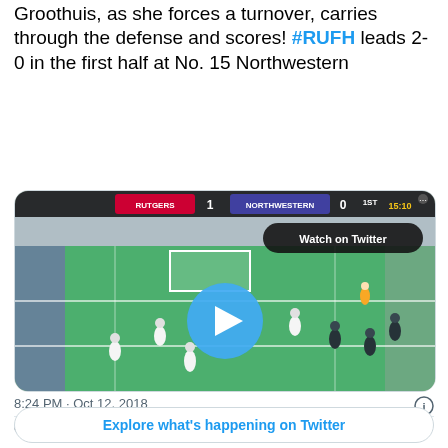Groothuis, as she forces a turnover, carries through the defense and scores! #RUFH leads 2-0 in the first half at No. 15 Northwestern
[Figure (screenshot): Twitter video card showing a field hockey game. Scoreboard shows RUTGERS 1, NORTHWESTERN 0, 1ST 15:10. A play button overlays the video. 'Watch on Twitter' button in upper right. Green turf field with players in action.]
8:24 PM · Oct 12, 2018
50  Reply  Copy link
Explore what's happening on Twitter